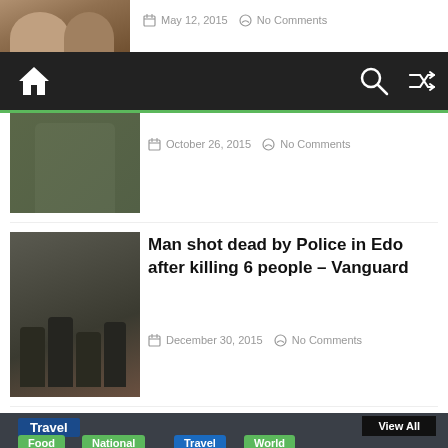[Figure (photo): Partial photo of two men smiling, top of page]
May 12, 2015  No Comments
[Figure (screenshot): Website navigation bar with home, search, and shuffle icons on dark background]
[Figure (photo): Man in grey shirt standing in workshop area]
October 26, 2015  No Comments
Man shot dead by Police in Edo after killing 6 people – Vanguard
[Figure (photo): Several people on a vehicle, possibly police or military]
December 30, 2015  No Comments
Travel
View All
Food
National
Travel
World